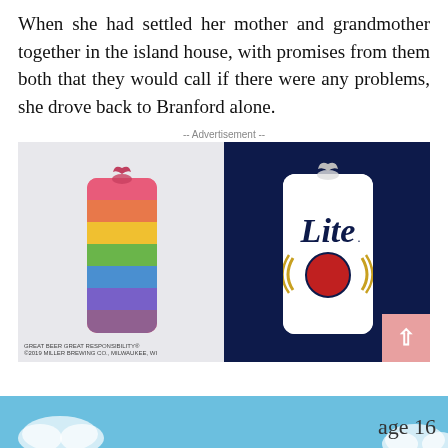When she had settled her mother and grandmother together in the island house, with promises from them both that they would call if there were any problems, she drove back to Branford alone.
[Figure (photo): Advertisement showing two beer cans side by side. Left side: rainbow-striped beer can on light grey background. Right side: Miller Lite beer can on dark navy background with 'Lite' text and circular logo. Bottom left text: 'GREAT BEER GREAT RESPONSIBILITY® ©2019 MILLER BREWING CO., MILWAUKEE, WI']
age 16